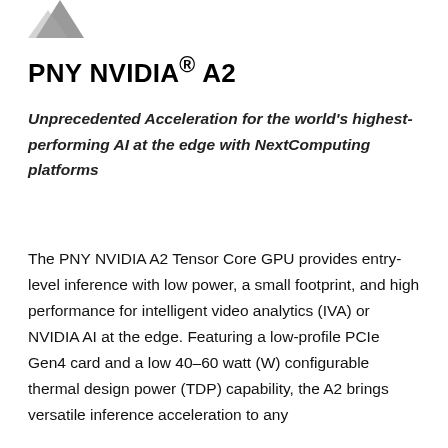[Figure (logo): Partial PNY logo mark (bird/arrow shape) visible at top left corner]
PNY NVIDIA® A2
Unprecedented Acceleration for the world's highest-performing AI at the edge with NextComputing platforms
The PNY NVIDIA A2 Tensor Core GPU provides entry-level inference with low power, a small footprint, and high performance for intelligent video analytics (IVA) or NVIDIA AI at the edge. Featuring a low-profile PCIe Gen4 card and a low 40–60 watt (W) configurable thermal design power (TDP) capability, the A2 brings versatile inference acceleration to any